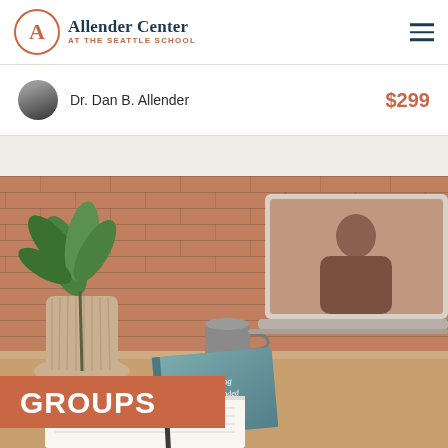[Figure (logo): Allender Center at The Seattle School logo — circle with letter A in coral/orange, followed by bold text 'Allender Center' in dark teal and 'AT THE SEATTLE SCHOOL' in coral below]
Dr. Dan B. Allender
$299
[Figure (photo): Desk scene with brick wall background. Plant in ribbed pot on left, open laptop on right showing a person on screen, book titled 'Healing the Wounded Heart by Dan B. Allender' in center, notebook and pen on desk, mug in background. Red-orange banner overlay reading 'GROUPS'.]